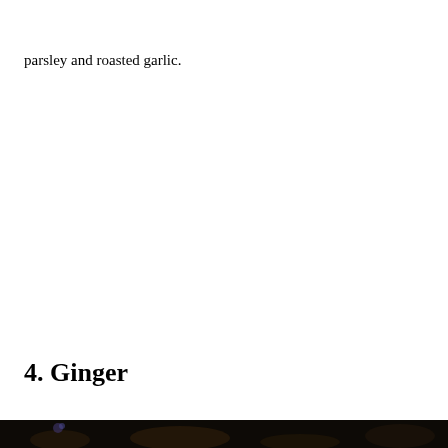parsley and roasted garlic.
4. Ginger
[Figure (photo): A dark photograph, partially visible at the bottom of the page, showing what appears to be ginger or a related food item in low lighting.]